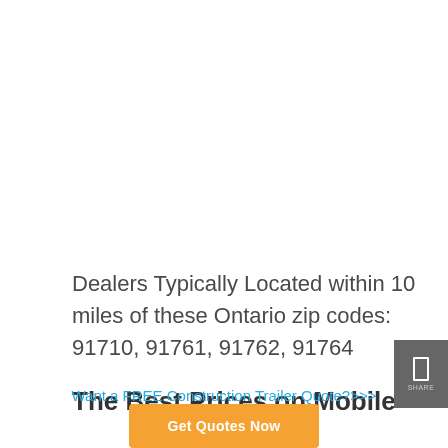Dealers Typically Located within 10 miles of these Ontario zip codes: 91710, 91761, 91762, 91764
The Best Prices on Mobile
Want a FREE Construction Trailer Quote?>>>
Get Quotes Now